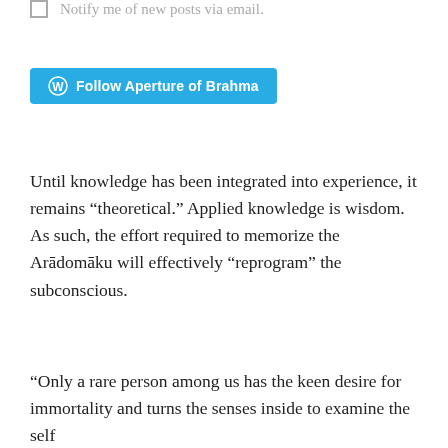Notify me of new posts via email.
[Figure (other): Follow Aperture of Brahma button with WordPress logo]
Until knowledge has been integrated into experience, it remains “theoretical.” Applied knowledge is wisdom. As such, the effort required to memorize the Arādomāku will effectively “reprogram” the subconscious.
“Only a rare person among us has the keen desire for immortality and turns the senses inside to examine the self and its source in the Supreme Self.”